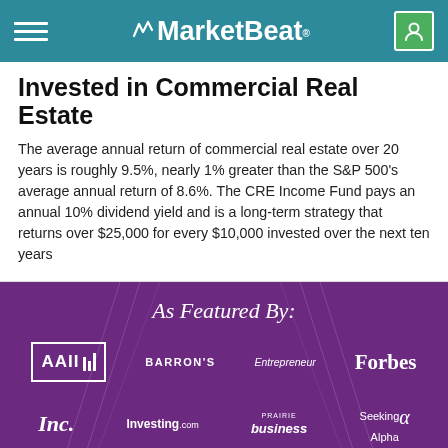MarketBeat
Invested in Commercial Real Estate
The average annual return of commercial real estate over 20 years is roughly 9.5%, nearly 1% greater than the S&P 500's average annual return of 8.6%. The CRE Income Fund pays an annual 10% dividend yield and is a long-term strategy that returns over $25,000 for every $10,000 invested over the next ten years
As Featured By:
[Figure (logo): Logos of media outlets: AAII, Barron's, Entrepreneur, Forbes, Inc., Investing.com, Prairie Business, Seeking Alpha on purple background]